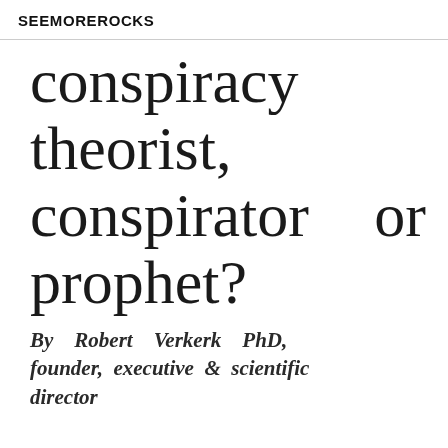SEEMOREROCKS
conspiracy theorist, conspirator or prophet?
By Robert Verkerk PhD, founder, executive & scientific director